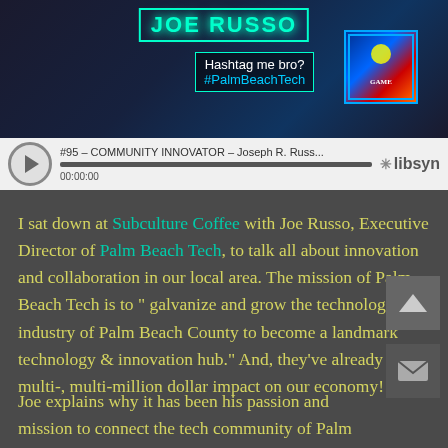[Figure (screenshot): Video thumbnail showing 'JOE RUSSO' text in neon green with hashtag 'Hashtag me bro? #PalmBeachTech' overlay and a colorful game box graphic on the right]
[Figure (screenshot): Audio player bar showing '#95 – COMMUNITY INNOVATOR – Joseph R. Russ...' with play button, progress bar, timestamp 00:00:00, and libsyn logo]
I sat down at Subculture Coffee with Joe Russo, Executive Director of Palm Beach Tech, to talk all about innovation and collaboration in our local area. The mission of Palm Beach Tech is to “galvanize and grow the technology industry of Palm Beach County to become a landmark technology & innovation hub.” And, they’ve already had a multi-, multi-million dollar impact on our economy!
Joe explains why it has been his passion and mission to connect the tech community of Palm